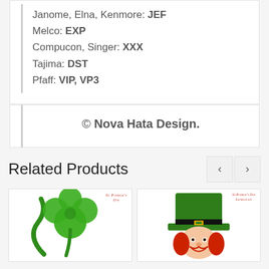Janome, Elna, Kenmore: JEF
Melco: EXP
Compucon, Singer: XXX
Tajima: DST
Pfaff: VIP, VP3
© Nova Hata Design.
Related Products
[Figure (illustration): St. Patrick's Day shamrock/clover embroidery design with green swirl and four-leaf clover, labeled 'St. Patrick's Day']
[Figure (illustration): St. Patrick's Day Leprechaun embroidery design showing a leprechaun face with green hat, labeled 'St. Patrick's Day Leprechaun']